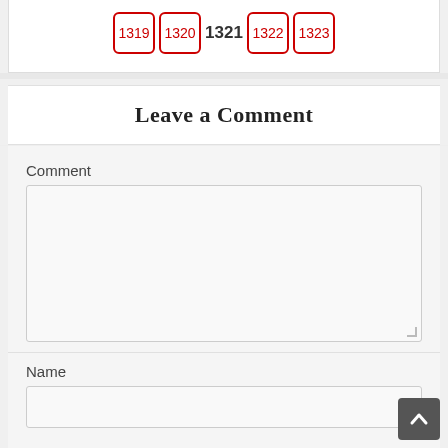[Figure (other): Pagination bar showing pages 1319, 1320, 1321 (current), 1322, 1323]
Leave a Comment
Comment
Name